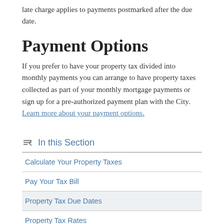late charge applies to payments postmarked after the due date.
Payment Options
If you prefer to have your property tax divided into monthly payments you can arrange to have property taxes collected as part of your monthly mortgage payments or sign up for a pre-authorized payment plan with the City. Learn more about your payment options.
In this Section
Calculate Your Property Taxes
Pay Your Tax Bill
Property Tax Due Dates
Property Tax Rates